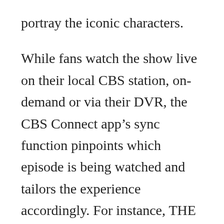portray the iconic characters.
While fans watch the show live on their local CBS station, on-demand or via their DVR, the CBS Connect app’s sync function pinpoints which episode is being watched and tailors the experience accordingly. For instance, THE BOLD AND THE BEAUTIFUL experience will offer fans:
Unique slideshows offering contextual historical moments, such as Brooke’s past lovers
Interactive polls, such as: “Is Liam too immature to be in a relationship with Hope?”